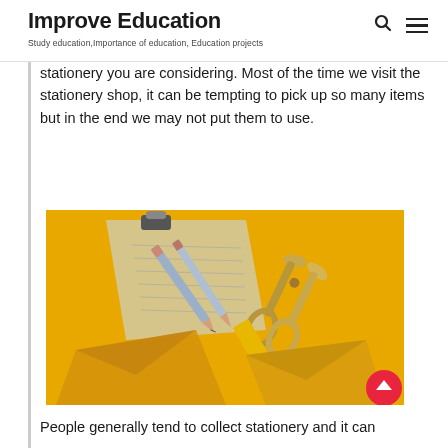Improve Education
Study education,Importance of education, Education projects
stationery you are considering. Most of the time we visit the stationery shop, it can be tempting to pick up so many items but in the end we may not put them to use.
[Figure (photo): A yellow background with stationery items: a clipboard with pencils, golden scissors, yellow eraser, and yellow envelope/paper.]
People generally tend to collect stationery and it can